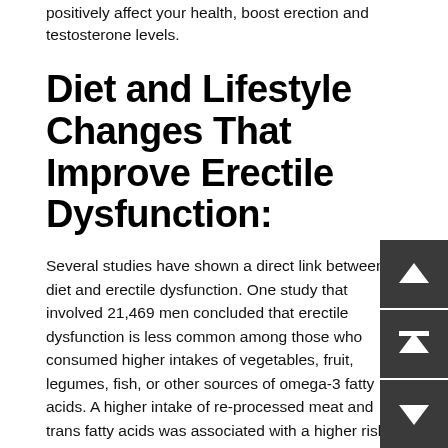positively affect your health, boost erection and testosterone levels.
Diet and Lifestyle Changes That Improve Erectile Dysfunction:
Several studies have shown a direct link between diet and erectile dysfunction. One study that involved 21,469 men concluded that erectile dysfunction is less common among those who consumed higher intakes of vegetables, fruit, legumes, fish, or other sources of omega-3 fatty acids. A higher intake of re-processed meat and trans fatty acids was associated with a higher risk of erectile dysfunction. [9]
A literature review of thirteen studies on diet and erectile dysfunction and 15 studies on diet and testosterone levels were reviewed and found to demonstrate that erectile dysfunction appears to lessen in men adhering to the Mediterranean diet.